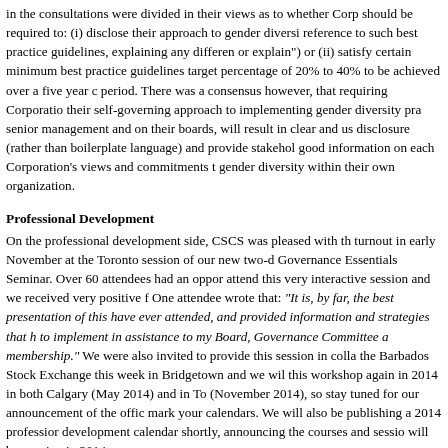in the consultations were divided in their views as to whether Corp should be required to: (i) disclose their approach to gender diversi reference to such best practice guidelines, explaining any differen or explain") or (ii) satisfy certain minimum best practice guidelines target percentage of 20% to 40% to be achieved over a five year c period. There was a consensus however, that requiring Corporatio their self-governing approach to implementing gender diversity pra senior management and on their boards, will result in clear and us disclosure (rather than boilerplate language) and provide stakehol good information on each Corporation's views and commitments t gender diversity within their own organization.
Professional Development
On the professional development side, CSCS was pleased with th turnout in early November at the Toronto session of our new two-d Governance Essentials Seminar. Over 60 attendees had an oppor attend this very interactive session and we received very positive f One attendee wrote that: "It is, by far, the best presentation of this have ever attended, and provided information and strategies that h to implement in assistance to my Board, Governance Committee a membership." We were also invited to provide this session in colla the Barbados Stock Exchange this week in Bridgetown and we wil this workshop again in 2014 in both Calgary (May 2014) and in To (November 2014), so stay tuned for our announcement of the offic mark your calendars. We will also be publishing a 2014 professior development calendar shortly, announcing the courses and sessio will be running in 2014.